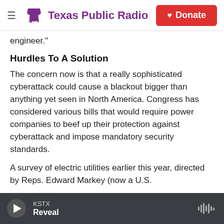Texas Public Radio | Donate
engineer."
Hurdles To A Solution
The concern now is that a really sophisticated cyberattack could cause a blackout bigger than anything yet seen in North America. Congress has considered various bills that would require power companies to beef up their protection against cyberattack and impose mandatory security standards.
A survey of electric utilities earlier this year, directed by Reps. Edward Markey (now a U.S.
KSTX | Reveal